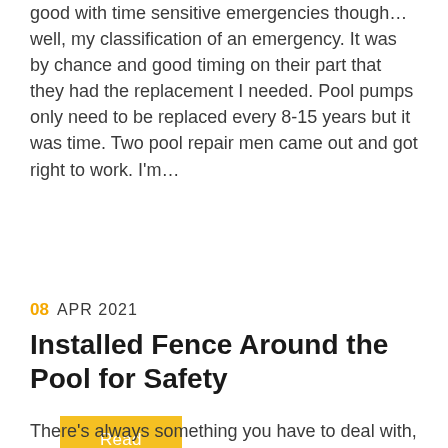good with time sensitive emergencies though…well, my classification of an emergency. It was by chance and good timing on their part that they had the replacement I needed. Pool pumps only need to be replaced every 8-15 years but it was time. Two pool repair men came out and got right to work. I'm…
Read More
08 APR 2021
Installed Fence Around the Pool for Safety
There's always something you have to deal with,